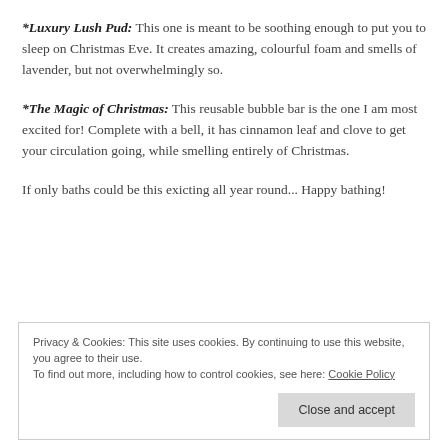*Luxury Lush Pud: This one is meant to be soothing enough to put you to sleep on Christmas Eve. It creates amazing, colourful foam and smells of lavender, but not overwhelmingly so.
*The Magic of Christmas: This reusable bubble bar is the one I am most excited for! Complete with a bell, it has cinnamon leaf and clove to get your circulation going, while smelling entirely of Christmas.
If only baths could be this exicting all year round... Happy bathing!
Privacy & Cookies: This site uses cookies. By continuing to use this website, you agree to their use. To find out more, including how to control cookies, see here: Cookie Policy